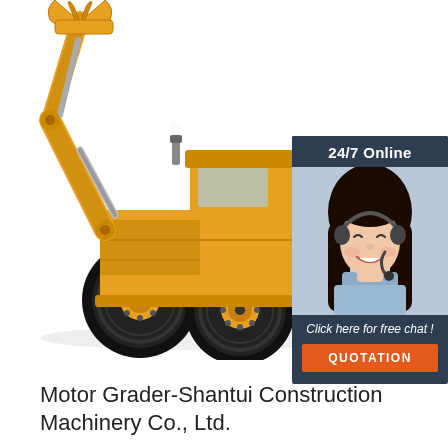[Figure (photo): Yellow wheel loader / motor grader construction machinery with a ripper/grabber attachment on the front arm, photographed on white background]
[Figure (infographic): Dark navy blue online chat widget with '24/7 Online' header, photo of smiling female customer support agent wearing headset, italic text 'Click here for free chat!', and orange 'QUOTATION' button]
Motor Grader-Shantui Construction Machinery Co., Ltd.